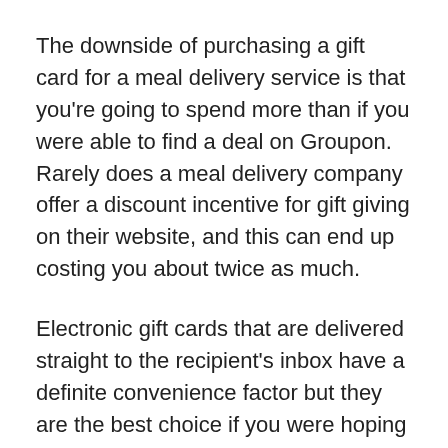The downside of purchasing a gift card for a meal delivery service is that you're going to spend more than if you were able to find a deal on Groupon. Rarely does a meal delivery company offer a discount incentive for gift giving on their website, and this can end up costing you about twice as much.
Electronic gift cards that are delivered straight to the recipient's inbox have a definite convenience factor but they are the best choice if you were hoping to at least print something off to gift wrap or present. You'll also want to make sure that your recipient knows to expect something, otherwise, an email might get overlooked or routed to their spam folder.
The advantage of meal delivery gift certificates is that almost all of the major meal delivery services offer